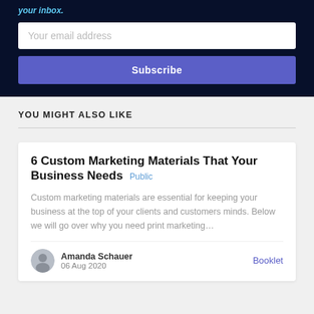your inbox.
Your email address
Subscribe
YOU MIGHT ALSO LIKE
6 Custom Marketing Materials That Your Business Needs Public
Custom marketing materials are essential for keeping your business at the top of your clients and customers minds. Below we will go over why you need print marketing…
Amanda Schauer
06 Aug 2020
Booklet